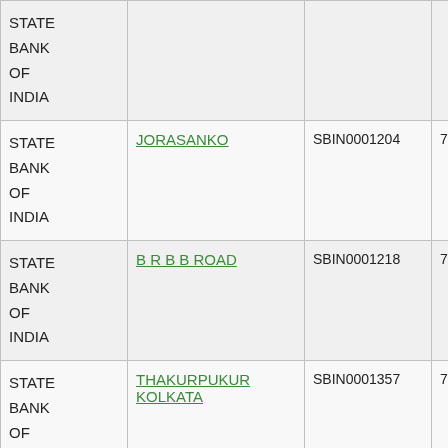| Bank | Branch | IFSC | MICR |
| --- | --- | --- | --- |
| STATE BANK OF INDIA |  |  |  |
| STATE BANK OF INDIA | JORASANKO | SBIN0001204 | 700002050 |
| STATE BANK OF INDIA | B R B B ROAD | SBIN0001218 | 700002018 |
| STATE BANK OF INDIA | THAKURPUKUR KOLKATA | SBIN0001357 | 700002147 |
| STATE BANK OF INDIA | DALHOUSIE SQUARE (EAST) | SBIN0001401 | 700002029 |